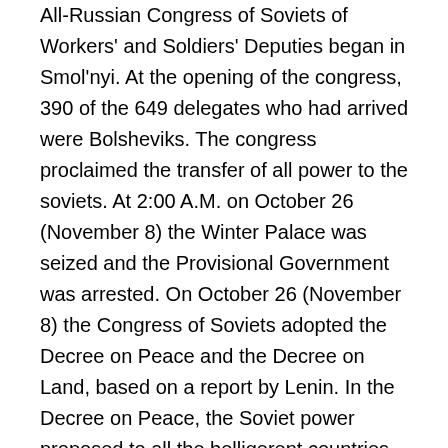All-Russian Congress of Soviets of Workers' and Soldiers' Deputies began in Smol'nyi. At the opening of the congress, 390 of the 649 delegates who had arrived were Bolsheviks. The congress proclaimed the transfer of all power to the soviets. At 2:00 A.M. on October 26 (November 8) the Winter Palace was seized and the Provisional Government was arrested. On October 26 (November 8) the Congress of Soviets adopted the Decree on Peace and the Decree on Land, based on a report by Lenin. In the Decree on Peace, the Soviet power proposed to all the belligerent countries that negotiations begin immediately for a just and democratic peace without annexations or indemnifications. By the terms of the Decree on Land, landlord ownership was abolished; landlord estates and crown, monastery, and church lands, with all livestock, implements, and buildings, and everything pertaining thereto, were given to the peasants